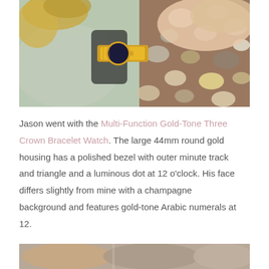[Figure (photo): Close-up photo of a person wearing a gold-tone bracelet watch with a dark face, shown against a background of pebbles/stones, with the person wearing a light green jacket.]
Jason went with the Multi-Function Gold-Tone Three Crown Bracelet Watch. The large 44mm round gold housing has a polished bezel with outer minute track and triangle and a luminous dot at 12 o'clock. His face differs slightly from mine with a champagne background and features gold-tone Arabic numerals at 12.
[Figure (photo): Partial photo visible at the bottom of the page, appears to show people or figures in warm tones.]